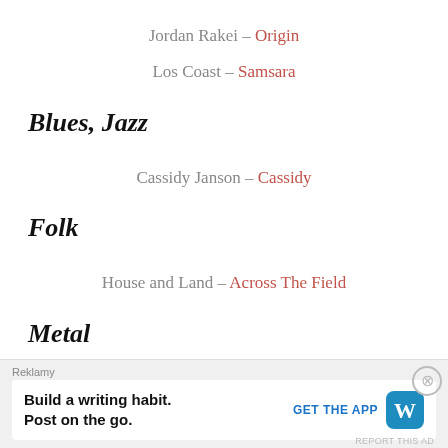Jordan Rakei – Origin
Los Coast – Samsara
Blues, Jazz
Cassidy Janson – Cassidy
Folk
House and Land – Across The Field
Metal
Beheaded – Only Death Can Save You
Reklamy
Build a writing habit. Post on the go. GET THE APP